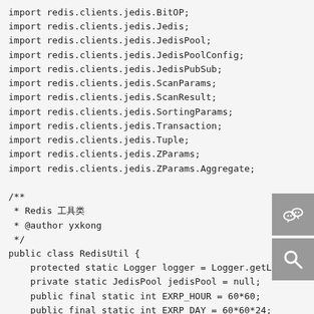import redis.clients.jedis.BitOP;
import redis.clients.jedis.Jedis;
import redis.clients.jedis.JedisPool;
import redis.clients.jedis.JedisPoolConfig;
import redis.clients.jedis.JedisPubSub;
import redis.clients.jedis.ScanParams;
import redis.clients.jedis.ScanResult;
import redis.clients.jedis.SortingParams;
import redis.clients.jedis.Transaction;
import redis.clients.jedis.Tuple;
import redis.clients.jedis.ZParams;
import redis.clients.jedis.ZParams.Aggregate;

/**
 * Redis 工具类
 * @author yxkong
 */
public class RedisUtil {
    protected static Logger logger = Logger.getLogger
    private static JedisPool jedisPool = null;
    public final static int EXRP_HOUR = 60*60;
    public final static int EXRP_DAY = 60*60*24;
    public final static int EXRP_MONTH = 60*60*24*30;
    public final static String ASC="asc"; //升序